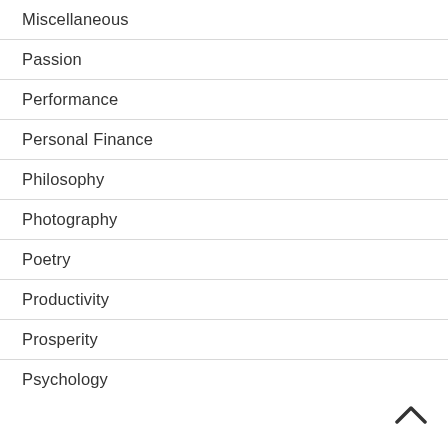Miscellaneous
Passion
Performance
Personal Finance
Philosophy
Photography
Poetry
Productivity
Prosperity
Psychology